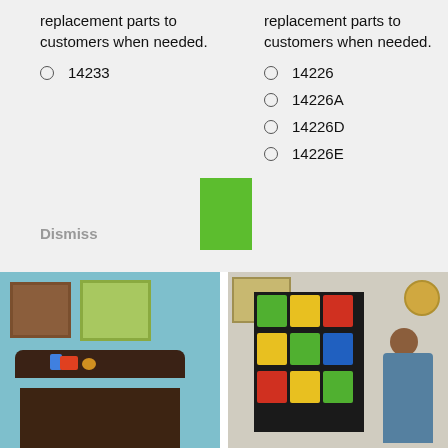replacement parts to customers when needed.
14233
Dismiss
replacement parts to customers when needed.
14226
14226A
14226D
14226E
[Figure (photo): Dark wooden toy chest/box with toys on top, against a teal/blue wall with framed pictures]
[Figure (photo): Colorful toy organizer with multiple colored bins, child playing beside it, clock on wall]